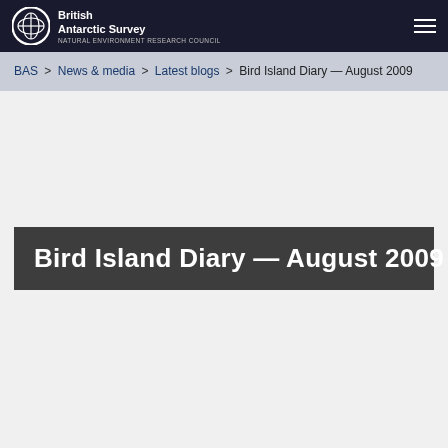[Figure (logo): British Antarctic Survey logo with globe icon and text 'British Antarctic Survey – Natural Environment Research Council' on dark navy header bar]
BAS > News & media > Latest blogs > Bird Island Diary — August 2009
Bird Island Diary — August 2009